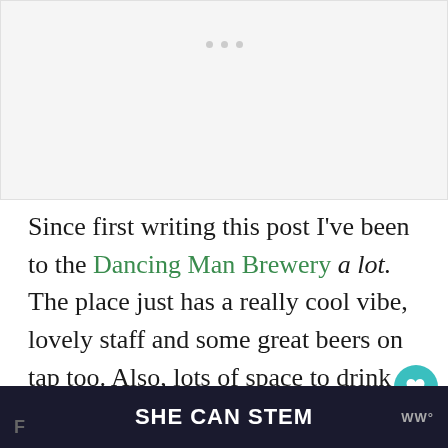[Figure (other): Image placeholder with three small grey dots, representing an embedded photo or slideshow that has not loaded]
Since first writing this post I've been to the Dancing Man Brewery a lot. The place just has a really cool vibe, lovely staff and some great beers on tap too. Also, lots of space to drink out the fron
SHE CAN STEM